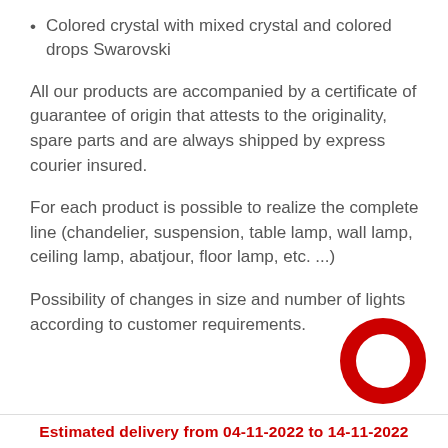Colored crystal with mixed crystal and colored drops Swarovski
All our products are accompanied by a certificate of guarantee of origin that attests to the originality, spare parts and are always shipped by express courier insured.
For each product is possible to realize the complete line (chandelier, suspension, table lamp, wall lamp, ceiling lamp, abatjour, floor lamp, etc. ...)
Possibility of changes in size and number of lights according to customer requirements.
[Figure (logo): Red circular ring logo (donut shape) in the bottom right corner]
Estimated delivery from 04-11-2022 to 14-11-2022